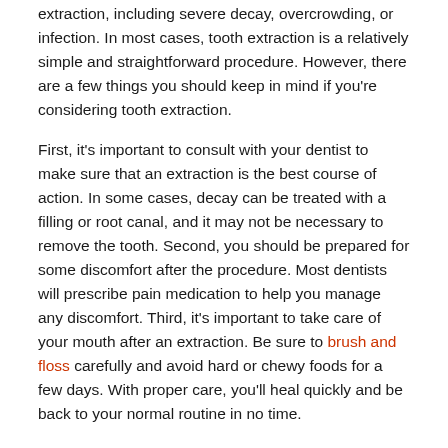extraction, including severe decay, overcrowding, or infection. In most cases, tooth extraction is a relatively simple and straightforward procedure. However, there are a few things you should keep in mind if you're considering tooth extraction.
First, it's important to consult with your dentist to make sure that an extraction is the best course of action. In some cases, decay can be treated with a filling or root canal, and it may not be necessary to remove the tooth. Second, you should be prepared for some discomfort after the procedure. Most dentists will prescribe pain medication to help you manage any discomfort. Third, it's important to take care of your mouth after an extraction. Be sure to brush and floss carefully and avoid hard or chewy foods for a few days. With proper care, you'll heal quickly and be back to your normal routine in no time.
Do You Have Overcrowding In